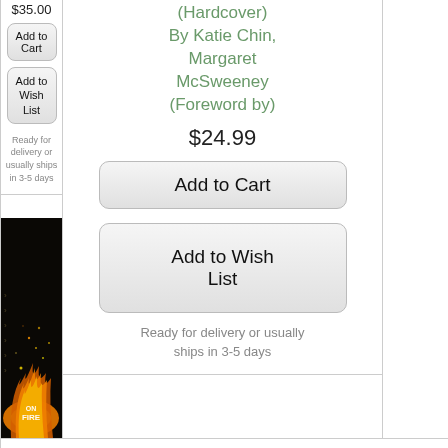$35.00
Add to Cart
Add to Wish List
Ready for delivery or usually ships in 3-5 days
(Hardcover)
By Katie Chin, Margaret McSweeney (Foreword by)
$24.99
Add to Cart
Add to Wish List
Ready for delivery or usually ships in 3-5 days
[Figure (photo): Book cover showing a fire/flames scene with the title 'ON FIRE']